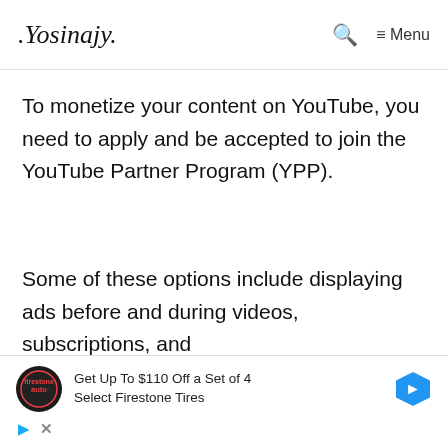.Yosinajy. | Search | Menu
To monetize your content on YouTube, you need to apply and be accepted to join the YouTube Partner Program (YPP).
Some of these options include displaying ads before and during videos, subscriptions, and
[Figure (infographic): Advertisement banner for Firestone Tires: Get Up To $110 Off a Set of 4 Select Firestone Tires, with Firestone Auto logo and blue diamond arrow icon]